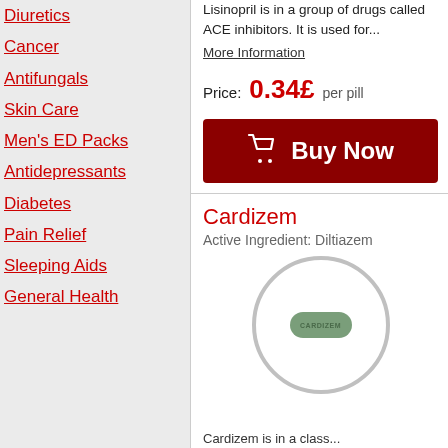Diuretics
Cancer
Antifungals
Skin Care
Men's ED Packs
Antidepressants
Diabetes
Pain Relief
Sleeping Aids
General Health
Lisinopril is in a group of drugs called ACE inhibitors. It is used for...
More Information
Price: 0.34£ per pill
Buy Now
Cardizem
Active Ingredient: Diltiazem
[Figure (photo): A green oval pill labeled CARDIZEM inside a light gray circle border on white background]